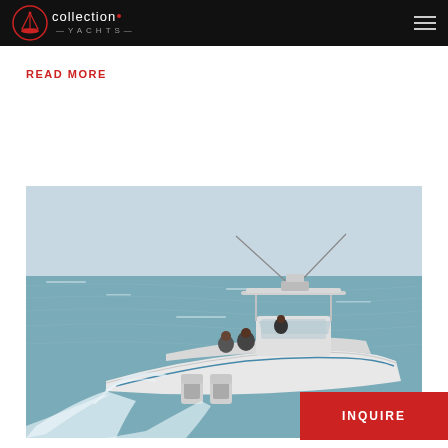Collection Yachts
READ MORE
[Figure (photo): A white sport fishing boat with twin outboard engines underway on open water, with several passengers aboard, taken from a low angle showing the bow lifted and wake behind.]
INQUIRE